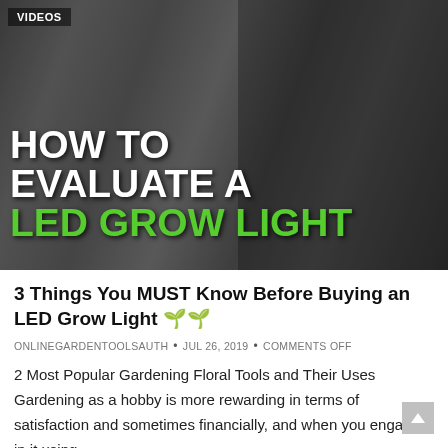[Figure (photo): Video thumbnail showing a man holding an LED grow light in a grow room with reflective foil walls. Bold white and green text overlaid reads 'HOW TO EVALUATE A LED GROW LIGHT'. A 'VIDEOS' tag appears in the top left corner.]
3 Things You MUST Know Before Buying an LED Grow Light 🌱🌱
ONLINEGARDENTOOLSAUTH • JUL 26, 2019 • COMMENTS OFF
2 Most Popular Gardening Floral Tools and Their Uses
Gardening as a hobby is more rewarding in terms of satisfaction and sometimes financially, and when you engage in it using…